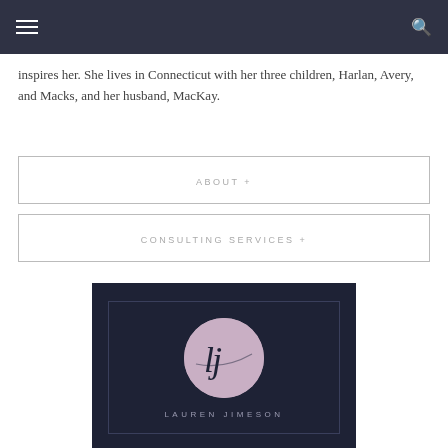inspires her. She lives in Connecticut with her three children, Harlan, Avery, and Macks, and her husband, MacKay.
ABOUT +
CONSULTING SERVICES +
[Figure (logo): Lauren Jimeson logo: dark navy background with inner border, a mauve/pink circle containing stylized 'lj' script initials, and the text 'LAUREN JIMESON' below in spaced caps.]